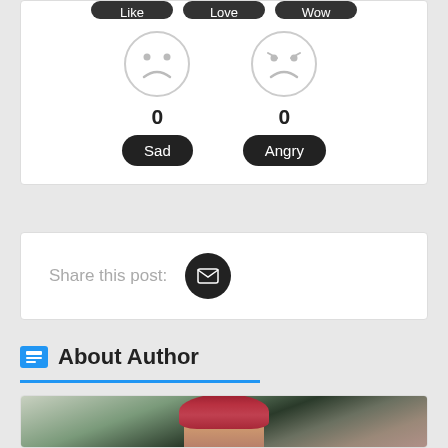[Figure (screenshot): Partial reaction widget showing tops of Like, Love, Wow buttons in dark rounded pill style, cut off at top]
[Figure (infographic): Reaction count widget with Sad (frowning face, count 0) and Angry (frowning face, count 0) reactions with dark rounded pill labels]
Share this post:
[Figure (other): Dark circular email/envelope icon button for sharing]
About Author
[Figure (photo): Partial photo of a woman with red/pink hair smiling, outdoor background]